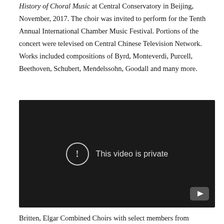History of Choral Music at Central Conservatory in Beijing, November, 2017. The choir was invited to perform for the Tenth Annual International Chamber Music Festival. Portions of the concert were televised on Central Chinese Television Network. Works included compositions of Byrd, Monteverdi, Purcell, Beethoven, Schubert, Mendelssohn, Goodall and many more.
[Figure (screenshot): Embedded video player showing a private YouTube video with the message 'This video is private' and a YouTube logo in the bottom right corner. The background is dark/black.]
Britten, Elgar Combined Choirs with select members from